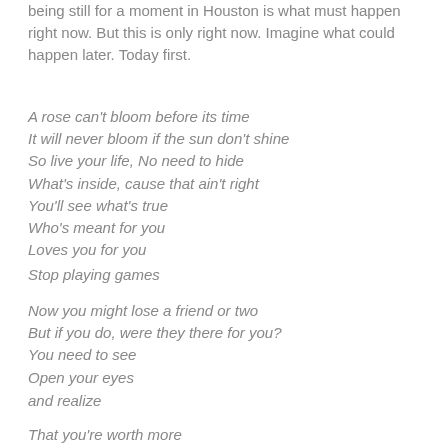being still for a moment in Houston is what must happen right now. But this is only right now. Imagine what could happen later. Today first.
A rose can't bloom before its time
It will never bloom if the sun don't shine
So live your life, No need to hide
What's inside, cause that ain't right
You'll see what's true
Who's meant for you
Loves you for you
Stop playing games
Now you might lose a friend or two
But if you do, were they there for you?
You need to see
Open your eyes
and realize
That you're worth more